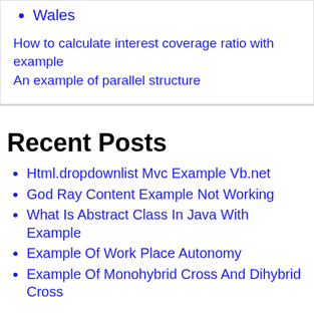Wales
How to calculate interest coverage ratio with example
An example of parallel structure
Recent Posts
Html.dropdownlist Mvc Example Vb.net
God Ray Content Example Not Working
What Is Abstract Class In Java With Example
Example Of Work Place Autonomy
Example Of Monohybrid Cross And Dihybrid Cross